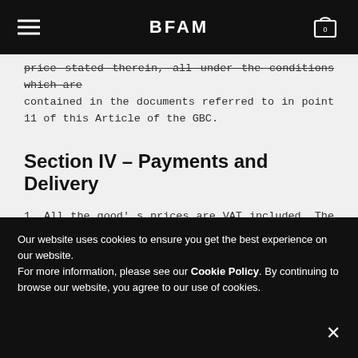BFAM
price stated therein, all under the conditions which are contained in the documents referred to in point 11 of this Article of the GBC.
Section IV – Payments and Delivery
1. All the good' s prices are VAT included. The Total price can be paid using these options:
a) using GoPAY payment gateway,
b) via PAYPAL
2. The Seller does not charge any fees. However, the
Our website uses cookies to ensure you get the best experience on our website.
For more information, please see our Cookie Policy. By continuing to browse our website, you agree to our use of cookies.